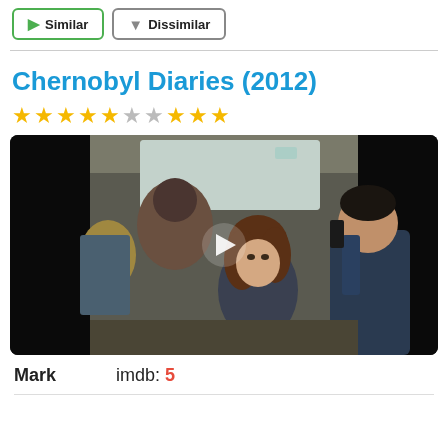[Figure (screenshot): Two UI buttons: a green-bordered 'Similar' button with a thumbs-up arrow icon, and a gray-bordered 'Dissimilar' button with a thumbs-down arrow icon]
Chernobyl Diaries (2012)
[Figure (photo): Movie still from Chernobyl Diaries (2012) showing people inside a vehicle, with a play button overlay in the center]
Mark   imdb: 5